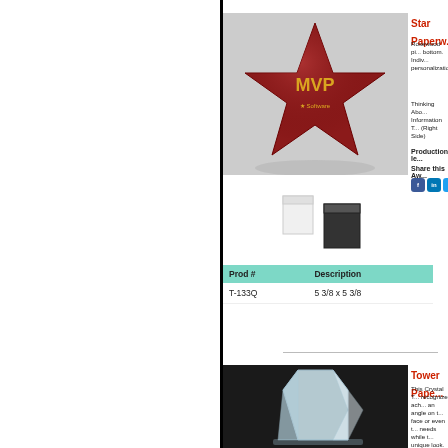[Figure (photo): Star-shaped rosewood paperweight with gold MVP logo engraving on a light background]
Star Paperw...
Rosewood pi... bottom. Indiv... personalizatio...
Thinking Abo... Information T... (Right Side)
Production le...
Share this Aw...
[Figure (photo): Two small packaging boxes, one white and one black]
| Prod # | Description |
| --- | --- |
| T-133Q | 5 3/8 x 5 3/8 |
[Figure (photo): Crystal tower paperweight on dark background]
Tower Pape...
This Crystal T... recognize ach... an angle on t... face or even t... needs while t... unique look. ... 3/4" X 2" and ... handsome bl... with these ite...